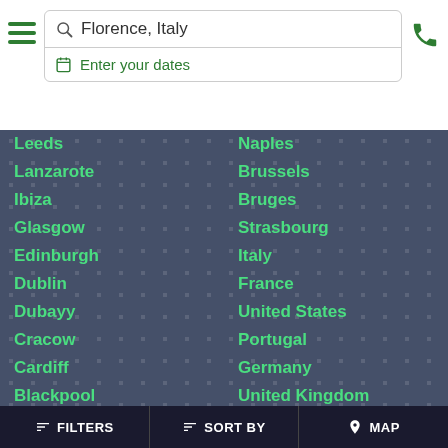Florence, Italy | Enter your dates
Leeds
Lanzarote
Ibiza
Glasgow
Edinburgh
Dublin
Dubayy
Cracow
Cardiff
Blackpool
Birmingham
Benidorm
Naples
Brussels
Bruges
Strasbourg
Italy
France
United States
Portugal
Germany
United Kingdom
Greece
People's Republic of China
FILTERS | SORT BY | MAP